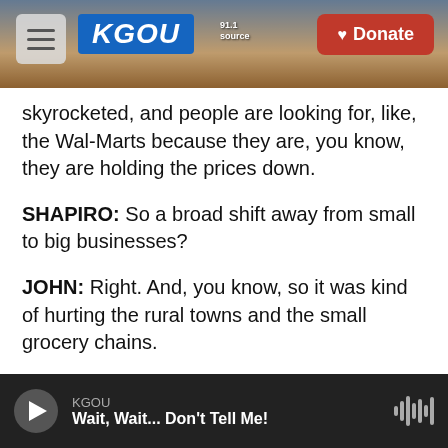[Figure (screenshot): KGOU radio website header with hamburger menu button, KGOU blue logo, city background image, and red Donate button]
skyrocketed, and people are looking for, like, the Wal-Marts because they are, you know, they are holding the prices down.
SHAPIRO: So a broad shift away from small to big businesses?
JOHN: Right. And, you know, so it was kind of hurting the rural towns and the small grocery chains.
SHAPIRO: Although I'm sure Wal-Mart would say for people to be able to afford low-cost groceries
KGOU — Wait, Wait... Don't Tell Me!